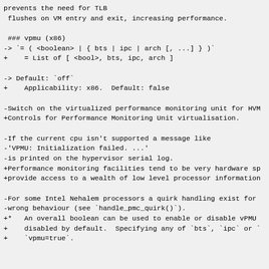prevents the need for TLB
 flushes on VM entry and exit, increasing performance.

 ### vpmu (x86)
-> `= ( <boolean> | { bts | ipc | arch [, ...] } )`
+    = List of [ <bool>, bts, ipc, arch ]

-> Default: `off`
+    Applicability: x86.  Default: false

-Switch on the virtualized performance monitoring unit for HVM
+Controls for Performance Monitoring Unit virtualisation.

-If the current cpu isn't supported a message like
-'VPMU: Initialization failed. ...'
-is printed on the hypervisor serial log.
+Performance monitoring facilities tend to be very hardware sp
+provide access to a wealth of low level processor information

-For some Intel Nehalem processors a quirk handling exist for
-wrong behaviour (see `handle_pmc_quirk()`).
+*   An overall boolean can be used to enable or disable vPMU
+    disabled by default.  Specifying any of `bts`, `ipc` or `
+    `vpmu=true`.